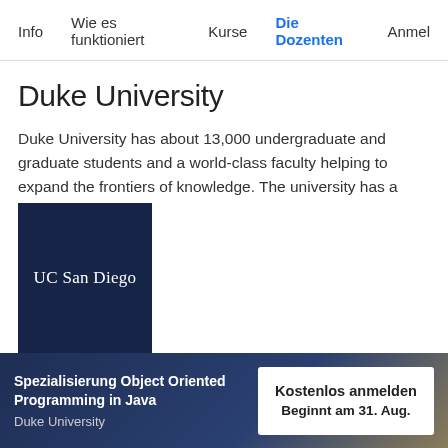Info  Wie es funktioniert  Kurse  Die Dozenten  Anmel
Duke University
Duke University has about 13,000 undergraduate and graduate students and a world-class faculty helping to expand the frontiers of knowledge. The university has a
Alle anzeigen
[Figure (logo): UC San Diego logo — white text on dark navy blue background]
Spezialisierung Object Oriented Programming in Java
Duke University
Kostenlos anmelden
Beginnt am 31. Aug.